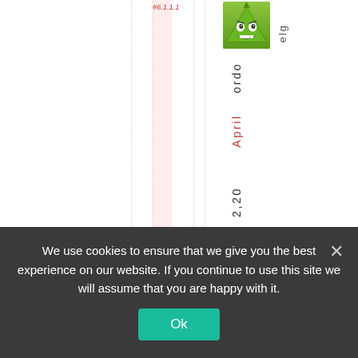#6.1.1.1
[Figure (illustration): Cartoon avatar of a smiling green triangle character with eyes and a grin, on a green gradient background]
elg
ordo
April
2,20
We use cookies to ensure that we give you the best experience on our website. If you continue to use this site we will assume that you are happy with it.
Ok